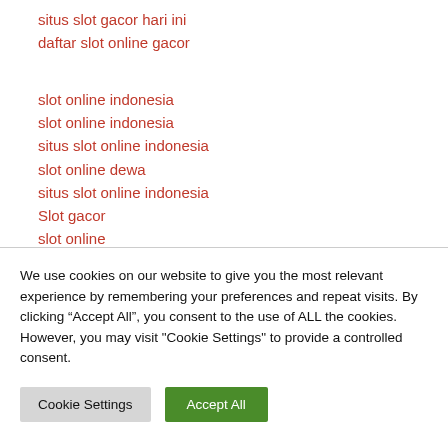situs slot gacor hari ini
daftar slot online gacor
slot online indonesia
slot online indonesia
situs slot online indonesia
slot online dewa
situs slot online indonesia
Slot gacor
slot online
Info Situs RTP Slot Online Gacor
We use cookies on our website to give you the most relevant experience by remembering your preferences and repeat visits. By clicking “Accept All”, you consent to the use of ALL the cookies. However, you may visit "Cookie Settings" to provide a controlled consent.